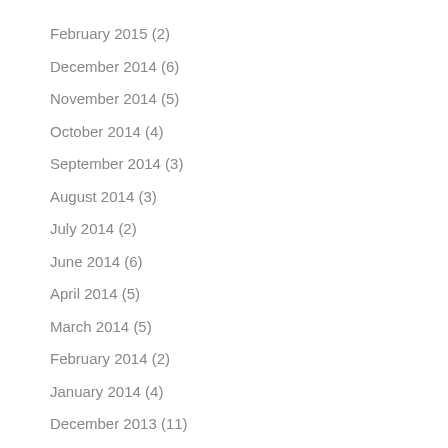February 2015 (2)
December 2014 (6)
November 2014 (5)
October 2014 (4)
September 2014 (3)
August 2014 (3)
July 2014 (2)
June 2014 (6)
April 2014 (5)
March 2014 (5)
February 2014 (2)
January 2014 (4)
December 2013 (11)
November 2013 (15)